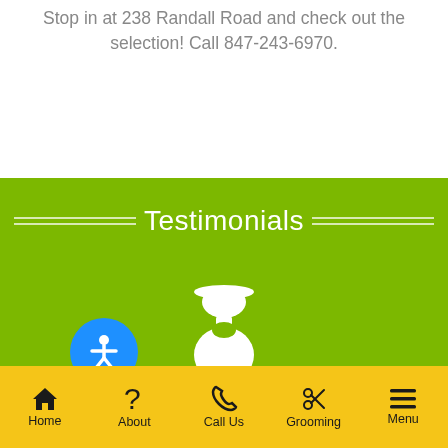Stop in at 238 Randall Road and check out the selection! Call 847-243-6970.
Testimonials
[Figure (illustration): White silhouette of a person with hat on green background, representing a customer testimonial avatar]
[Figure (illustration): Blue circle with white accessibility icon (person with arms out)]
Home | About | Call Us | Grooming | Menu